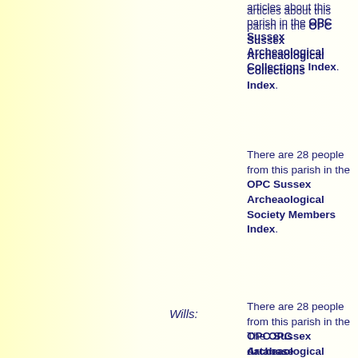There are 21 articles about this parish in the OPC Sussex Archeaological Collections Index.
There are 28 people from this parish in the OPC Sussex Archeaological Society Members Index.
Wills:
The OPC database contains 19 wills of people who